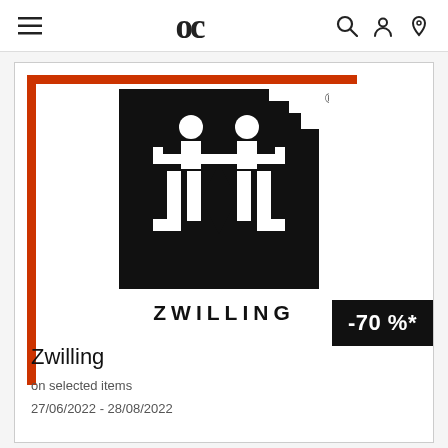oc  [search] [user] [location]
[Figure (logo): Zwilling brand logo: black square with two stylized human figures in white, registered trademark symbol, ZWILLING text below in black bold letters. Framed by an orange L-bracket on top and left. Discount badge -70%* in black on the right.]
Zwilling
on selected items
27/06/2022 - 28/08/2022